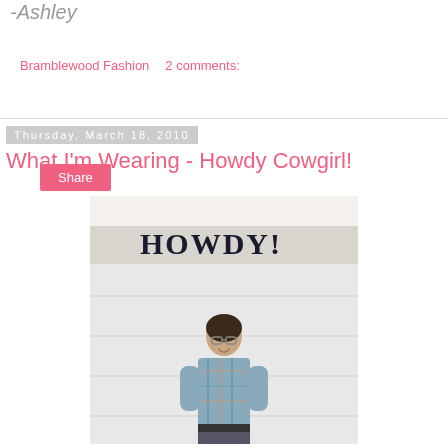-Ashley
Bramblewood Fashion   2 comments:
Share
Thursday, March 18, 2010
What I'm Wearing - Howdy Cowgirl!
[Figure (photo): Young woman in plaid shirt smiling in front of a white garage door with HOWDY! sign above]